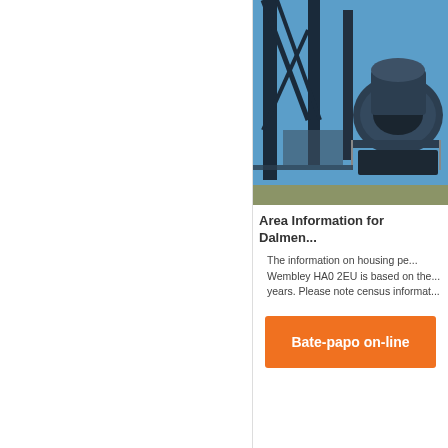[Figure (photo): Industrial machinery — large metal crusher or processing equipment on a steel frame structure against a blue sky]
Area Information for Dalmen...
The information on housing pe... Wembley HA0 2EU is based on the... years. Please note census informat...
Bate-papo on-line
[Figure (photo): Industrial facility with conveyors and silos against a blue sky]